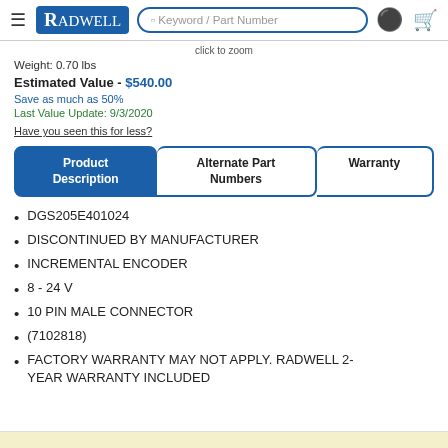Radwell — Keyword / Part Number search bar with account and cart icons
click to zoom
Weight: 0.70 lbs
Estimated Value - $540.00
Save as much as 50%
Last Value Update: 9/3/2020
Have you seen this for less?
Product Description | Alternate Part Numbers | Warranty
DGS205E401024
DISCONTINUED BY MANUFACTURER
INCREMENTAL ENCODER
8 - 24 V
10 PIN MALE CONNECTOR
(7102818)
FACTORY WARRANTY MAY NOT APPLY. RADWELL 2-YEAR WARRANTY INCLUDED